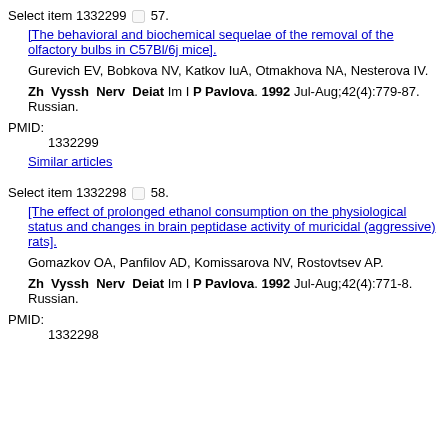Select item 1332299 □ 57.
[The behavioral and biochemical sequelae of the removal of the olfactory bulbs in C57Bl/6j mice].
Gurevich EV, Bobkova NV, Katkov IuA, Otmakhova NA, Nesterova IV.
Zh Vyssh Nerv Deiat Im I P Pavlova. 1992 Jul-Aug;42(4):779-87. Russian.
PMID:
1332299
Similar articles
Select item 1332298 □ 58.
[The effect of prolonged ethanol consumption on the physiological status and changes in brain peptidase activity of muricidal (aggressive) rats].
Gomazkov OA, Panfilov AD, Komissarova NV, Rostovtsev AP.
Zh Vyssh Nerv Deiat Im I P Pavlova. 1992 Jul-Aug;42(4):771-8. Russian.
PMID:
1332298